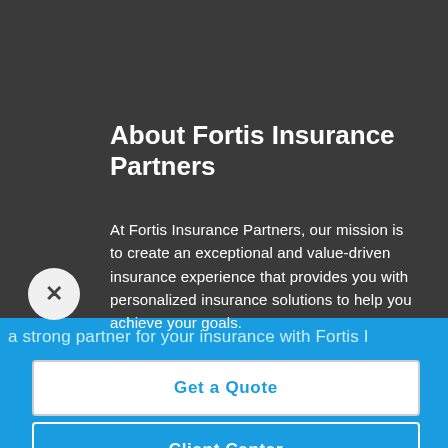About Fortis Insurance Partners
At Fortis Insurance Partners, our mission is to create an exceptional and value-driven insurance experience that provides you with personalized insurance solutions to help you achieve your goals.
a strong partner for your insurance with Fortis I
Get a Quote
Client Center